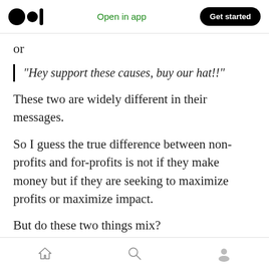Medium app header with logo, Open in app link, and Get started button
or
“Hey support these causes, buy our hat!!”
These two are widely different in their messages.
So I guess the true difference between non-profits and for-profits is not if they make money but if they are seeking to maximize profits or maximize impact.
But do these two things mix?
Many for-profit companies have certainly
Bottom navigation bar with home, search, and profile icons